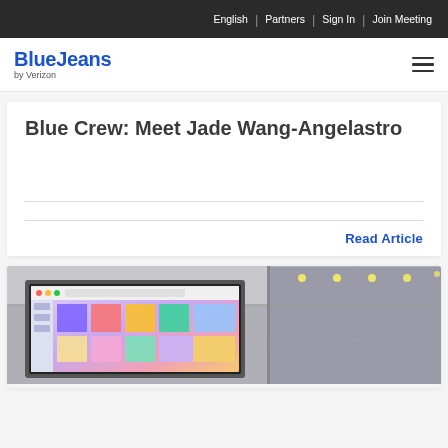English | Partners | Sign In | Join Meeting
[Figure (logo): BlueJeans by Verizon logo with hamburger menu icon]
Blue Crew: Meet Jade Wang-Angelastro
Read Article
[Figure (photo): Photo of a large monitor displaying BlueJeans application in an office/event setting with colorful interface and sticky notes]